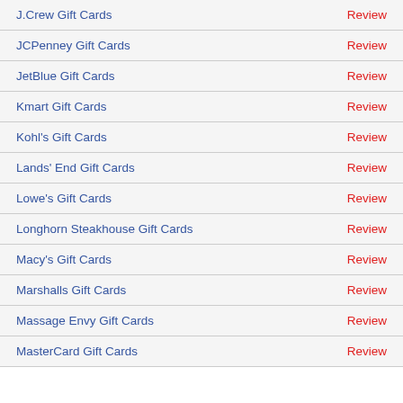J.Crew Gift Cards | Review
JCPenney Gift Cards | Review
JetBlue Gift Cards | Review
Kmart Gift Cards | Review
Kohl's Gift Cards | Review
Lands' End Gift Cards | Review
Lowe's Gift Cards | Review
Longhorn Steakhouse Gift Cards | Review
Macy's Gift Cards | Review
Marshalls Gift Cards | Review
Massage Envy Gift Cards | Review
MasterCard Gift Cards | Review